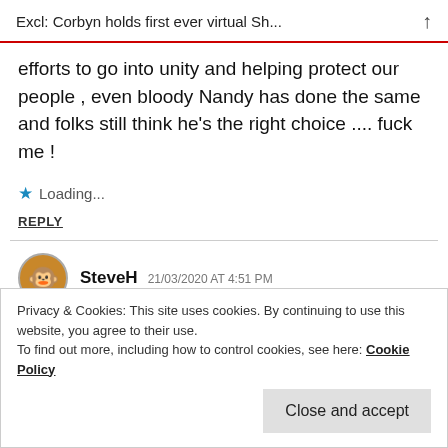Excl: Corbyn holds first ever virtual Sh...
efforts to go into unity and helping protect our people , even bloody Nandy has done the same and folks still think he's the right choice .... fuck me !
★ Loading...
REPLY
SteveH  21/03/2020 AT 4:51 PM
Privacy & Cookies: This site uses cookies. By continuing to use this website, you agree to their use.
To find out more, including how to control cookies, see here: Cookie Policy
Close and accept